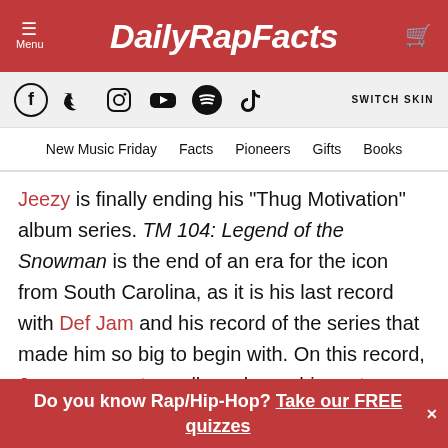DailyRapFacts
[Figure (logo): Social media icons: Facebook, Twitter, Instagram, YouTube, Spotify, TikTok with SWITCH SKIN text]
New Music Friday  Facts  Pioneers  Gifts  Books
Jeezy is finally ending his “Thug Motivation” album series. TM 104: Legend of the Snowman is the end of an era for the icon from South Carolina, as it is his last record with Def Jam and his record of the series that made him so big to begin with. On this record, Jeezy seems to really embrace his roots. Although there are a few newer style trap cuts as one would expect, a lot of the instrumentals on this
Do you know Rap/Hip-Hop? Take our FREE quizzes